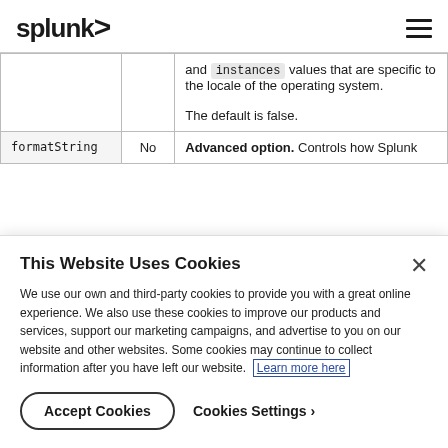splunk>
|  |  | and instances values that are specific to the locale of the operating system.

The default is false. |
| formatString | No | Advanced option. Controls how Splunk |
This Website Uses Cookies
We use our own and third-party cookies to provide you with a great online experience. We also use these cookies to improve our products and services, support our marketing campaigns, and advertise to you on our website and other websites. Some cookies may continue to collect information after you have left our website. Learn more here
Accept Cookies
Cookies Settings ›